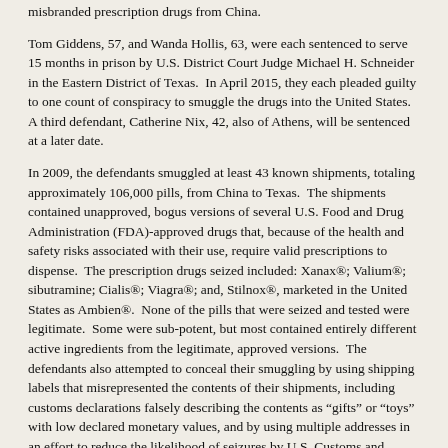misbranded prescription drugs from China.
Tom Giddens, 57, and Wanda Hollis, 63, were each sentenced to serve 15 months in prison by U.S. District Court Judge Michael H. Schneider in the Eastern District of Texas.  In April 2015, they each pleaded guilty to one count of conspiracy to smuggle the drugs into the United States.  A third defendant, Catherine Nix, 42, also of Athens, will be sentenced at a later date.
In 2009, the defendants smuggled at least 43 known shipments, totaling approximately 106,000 pills, from China to Texas.  The shipments contained unapproved, bogus versions of several U.S. Food and Drug Administration (FDA)-approved drugs that, because of the health and safety risks associated with their use, require valid prescriptions to dispense.  The prescription drugs seized included: Xanax®; Valium®; sibutramine; Cialis®; Viagra®; and, Stilnox®, marketed in the United States as Ambien®.  None of the pills that were seized and tested were legitimate.  Some were sub-potent, but most contained entirely different active ingredients from the legitimate, approved versions.  The defendants also attempted to conceal their smuggling by using shipping labels that misrepresented the contents of their shipments, including customs declarations falsely describing the contents as “gifts” or “toys” with low declared monetary values, and by using multiple addresses in an effort to reduce the likelihood of seizures by U.S. Customs and Border Protection authorities.
“Consumers of prescription drugs need to know that what they are buying is legitimate, safe, and approved,” said Principal Deputy Assistant Attorney General Benjamin C. Mizer, head of the Justice Department’s Civil Division.